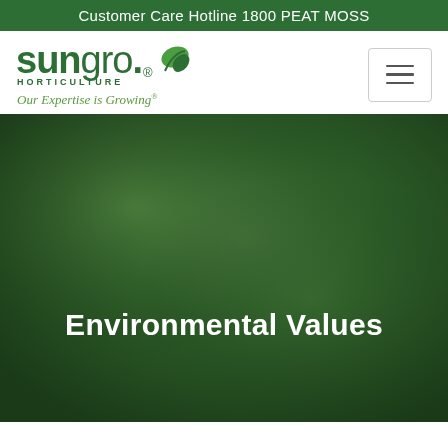Customer Care Hotline 1800 PEAT MOSS
[Figure (logo): Sun Gro Horticulture logo with green leaf icon and tagline 'Our Expertise is Growing']
[Figure (illustration): Dark green blurred background hero image]
Environmental Values